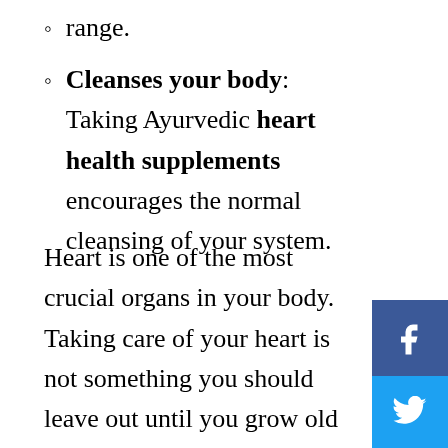range.
Cleanses your body: Taking Ayurvedic heart health supplements encourages the normal cleansing of your system.
Heart is one of the most crucial organs in your body. Taking care of your heart is not something you should leave out until you grow old because if you do, it may be too late to rectify. Try out Kerala Ayurveda heart health supplements today for helping to maintain ideal heart health...